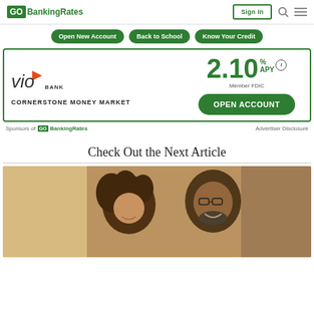GO BankingRates | Sign In
Open New Account  Back to School  Know Your Credit
[Figure (infographic): Vio Bank Cornerstone Money Market advertisement showing 2.10% APY, Member FDIC, with Open Account button]
Sponsors of GO BankingRates   Advertiser Disclosure
Check Out the Next Article
[Figure (photo): Two people smiling and looking at something together, a woman with curly hair and a man with glasses and beard]